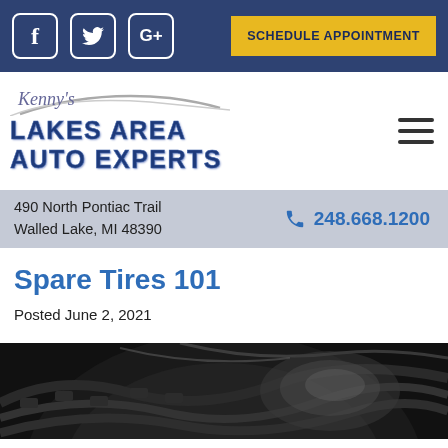Social media icons (Facebook, Twitter, Google+) and SCHEDULE APPOINTMENT button
[Figure (logo): Kenny's Lakes Area Auto Experts logo with arc swoosh graphic]
490 North Pontiac Trail
Walled Lake, MI 48390
248.668.1200
Spare Tires 101
Posted June 2, 2021
[Figure (photo): Close-up dark greyscale photo of a car tire tread]